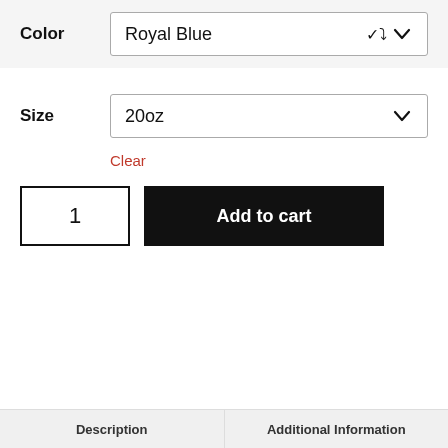Color: Royal Blue
Size: 20oz
Clear
1
Add to cart
Pay Over Time
Description | Additional Information